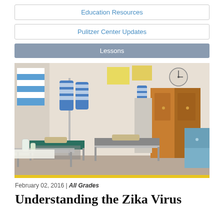Education Resources
Pulitzer Center Updates
Lessons
[Figure (photo): A hospital or clinic room interior with medical examination beds/tables with teal/dark green mattresses, blue and white striped hanging IV bags or equipment bags, a wooden wardrobe cabinet, a blue cabinet on the right, a wall clock, medical supplies and bottles on a tray in the foreground, and walls with papers posted on them.]
February 02, 2016 | All Grades
Understanding the Zika Virus